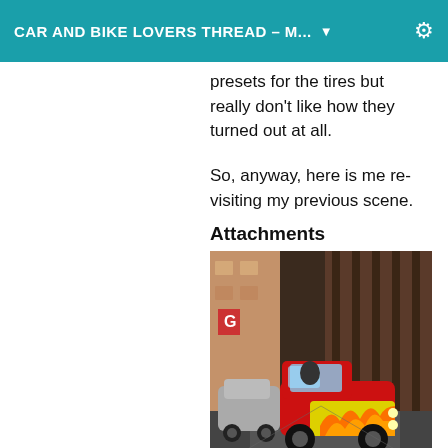CAR AND BIKE LOVERS THREAD – M...
presets for the tires but really don't like how they turned out at all.
So, anyway, here is me re-visiting my previous scene.
Attachments
[Figure (photo): 3D rendered scene of a red and yellow hot rod car with flame paint job driving through a narrow urban alley with tall brick and concrete buildings on both sides. Another vehicle is visible on the left side. The scene has a cinematic, game-like appearance.]